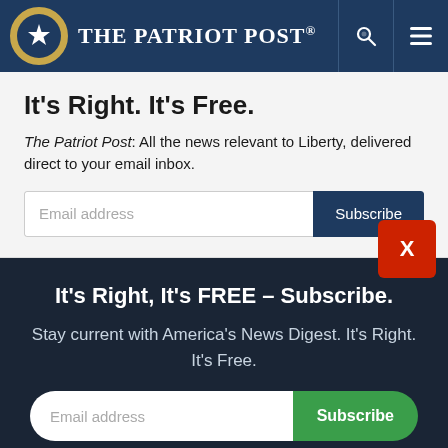The Patriot Post
It's Right. It's Free.
The Patriot Post: All the news relevant to Liberty, delivered direct to your email inbox.
It's Right, It's FREE – Subscribe.
Stay current with America's News Digest. It's Right. It's Free.